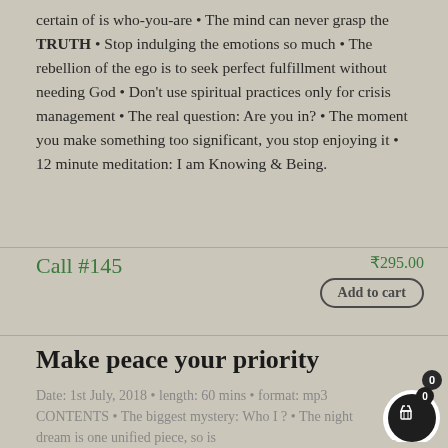certain of is who-you-are • The mind can never grasp the TRUTH • Stop indulging the emotions so much • The rebellion of the ego is to seek perfect fulfillment without needing God • Don't use spiritual practices only for crisis management • The real question: Are you in? • The moment you make something too significant, you stop enjoying it • 12 minute meditation: I am Knowing & Being.
Call #145
₹295.00
Add to cart
Make peace your priority
Date: 1st July, 2018 • length: 60 mins • format: mp3  CONTENTS • The biggest mystery: Who I ? • The night dream is one unified piece, so is